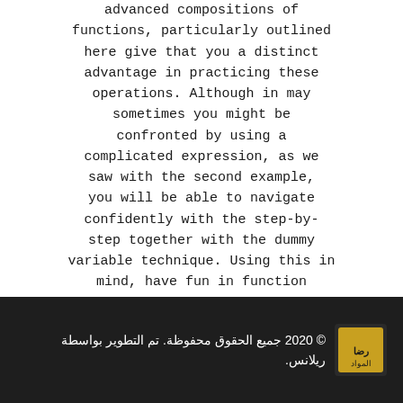advanced compositions of functions, particularly outlined here give that you a distinct advantage in practicing these operations. Although in may sometimes you might be confronted by using a complicated expression, as we saw with the second example, you will be able to navigate confidently with the step-by-step together with the dummy variable technique. Using this in mind, have fun in function composition land.
© 2020 جميع الحقوق محفوظة. تم التطوير بواسطة ريلانس.